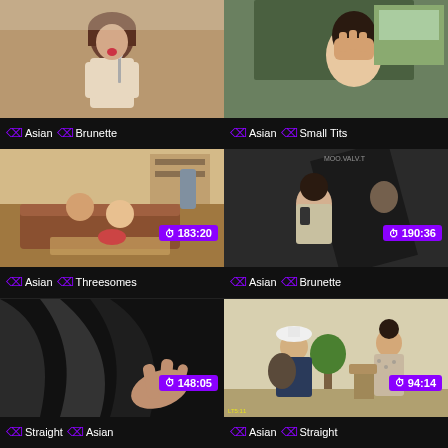[Figure (screenshot): Video thumbnail grid showing 6 video thumbnails arranged in 2 columns and 3 rows, each with tags below. Top-left: woman with short brown hair, no duration badge, tags: Asian, Brunette. Top-right: woman in car covering face, no duration badge, tags: Asian, Small Tits. Middle-left: indoor scene with people on sofa, duration 183:20, tags: Asian, Threesomes. Middle-right: dark indoor scene with people, duration 190:36, tags: Asian, Brunette. Bottom-left: close-up dark fabric/hand, duration 148:05, tags: Straight, Asian. Bottom-right: two people standing indoors, duration 94:14, tags: Asian, Straight.]